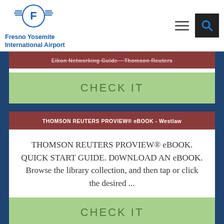Fresno Yosemite International Airport - navigation header with logo, hamburger menu, and search button
Eikon Networking Guide – Thomson Reuters
CHECK IT
THOMSON REUTERS PROVIEW® eBOOK - Westlaw
THOMSON REUTERS PROVIEW® eBOOK. QUICK START GUIDE. D0WNLOAD AN eBOOK. Browse the library collection, and then tap or click the desired ...
CHECK IT